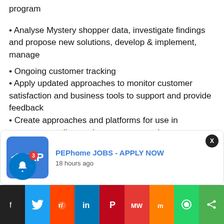program
• Analyse Mystery shopper data, investigate findings and propose new solutions, develop & implement, manage
• Ongoing customer tracking
• Apply updated approaches to monitor customer satisfaction and business tools to support and provide feedback
• Create approaches and platforms for use in restaurants to live track customer experiences
• Provide input into business strategy through the analysis of external and internal data to give meaningful ... rall busi...
[Figure (screenshot): PEPhome JOBS notification popup with PEP logo, title 'PEPhome JOBS - APPLY NOW', timestamp '18 hours ago', and close button X]
Social sharing bar with icons: notification bell (3), Twitter, Reddit, LinkedIn, Pinterest, MW, Mix, WhatsApp, share